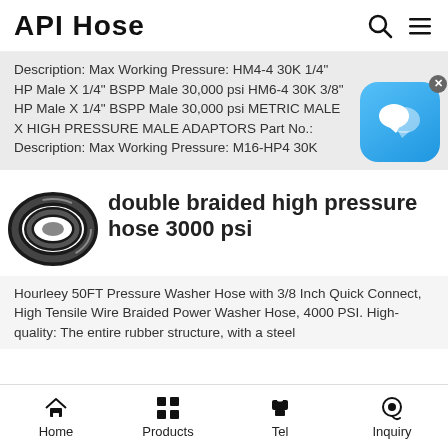API Hose
Description: Max Working Pressure: HM4-4 30K 1/4" HP Male X 1/4" BSPP Male 30,000 psi HM6-4 30K 3/8" HP Male X 1/4" BSPP Male 30,000 psi METRIC MALE X HIGH PRESSURE MALE ADAPTORS Part No.: Description: Max Working Pressure: M16-HP4 30K
[Figure (photo): Chat bubble / messaging app icon — blue rounded square with speech bubble icons inside, with a close (x) button]
[Figure (photo): Coiled black rubber high pressure hose product image]
double braided high pressure hose 3000 psi
Hourleey 50FT Pressure Washer Hose with 3/8 Inch Quick Connect, High Tensile Wire Braided Power Washer Hose, 4000 PSI. High-quality: The entire rubber structure, with a steel
Home  Products  Tel  Inquiry